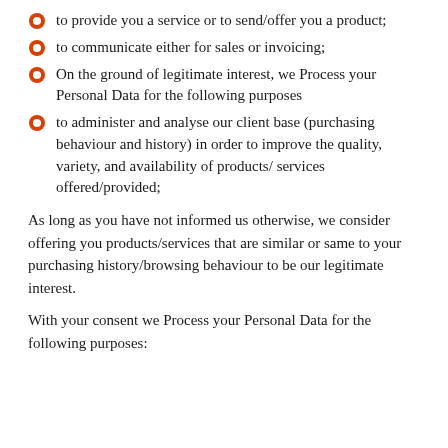to provide you a service or to send/offer you a product;
to communicate either for sales or invoicing;
On the ground of legitimate interest, we Process your Personal Data for the following purposes
to administer and analyse our client base (purchasing behaviour and history) in order to improve the quality, variety, and availability of products/ services offered/provided;
As long as you have not informed us otherwise, we consider offering you products/services that are similar or same to your purchasing history/browsing behaviour to be our legitimate interest.
With your consent we Process your Personal Data for the following purposes: